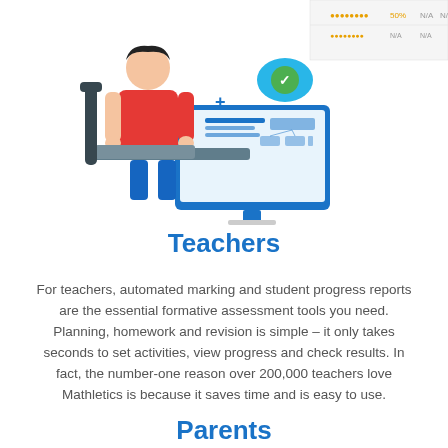[Figure (illustration): Illustration of a teacher at a computer with educational interface elements including a checklist, progress chart, and organizational diagram. A partial table with percentage data visible in top right corner.]
Teachers
For teachers, automated marking and student progress reports are the essential formative assessment tools you need. Planning, homework and revision is simple – it only takes seconds to set activities, view progress and check results. In fact, the number-one reason over 200,000 teachers love Mathletics is because it saves time and is easy to use.
Parents